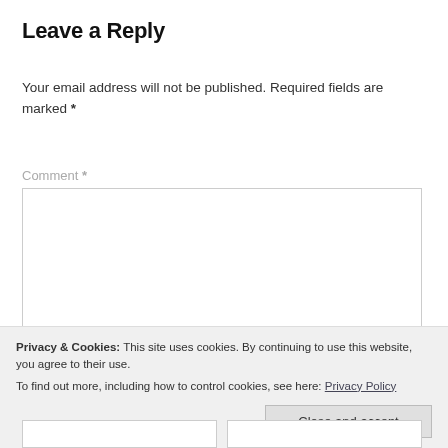Leave a Reply
Your email address will not be published. Required fields are marked *
Comment *
Privacy & Cookies: This site uses cookies. By continuing to use this website, you agree to their use.
To find out more, including how to control cookies, see here: Privacy Policy
Close and accept